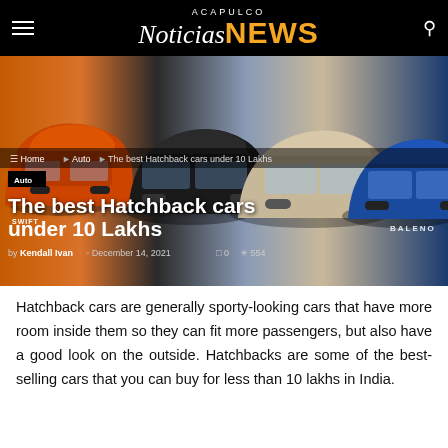Acapulco Noticias NEWS
[Figure (photo): Hero image showing multiple hatchback cars including a blue car, orange/red Suzuki Swift, a dark hatchback, a silver/beige sedan, and a blue Maruti Baleno, overlaid with breadcrumb navigation 'Home > Auto > The best Hatchback cars under 10 Lakhs', an 'Auto' tag, and the article title 'The best Hatchback cars under 10 Lakhs' with metadata 'by Kendall Ivan, December 14, 2021, 0 comments, 554 views' and 'BALENO' text visible]
Hatchback cars are generally sporty-looking cars that have more room inside them so they can fit more passengers, but also have a good look on the outside. Hatchbacks are some of the best-selling cars that you can buy for less than 10 lakhs in India.